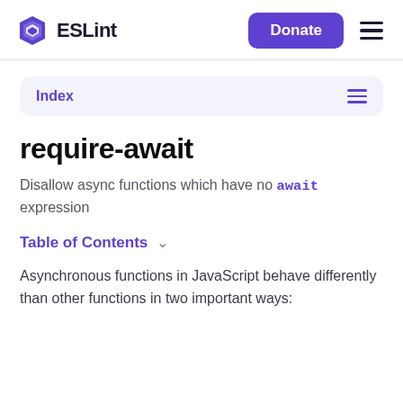ESLint  Donate
Index
require-await
Disallow async functions which have no await expression
Table of Contents
Asynchronous functions in JavaScript behave differently than other functions in two important ways: